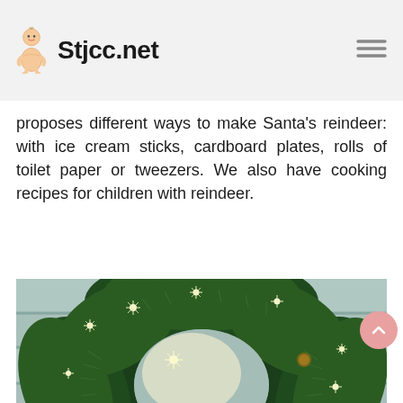Stjcc.net
proposes different ways to make Santa's reindeer: with ice cream sticks, cardboard plates, rolls of toilet paper or tweezers. We also have cooking recipes for children with reindeer.
[Figure (photo): A Christmas wreath made of green pine branches decorated with twinkling fairy lights and a large red bow at the bottom, placed on a rustic wooden surface.]